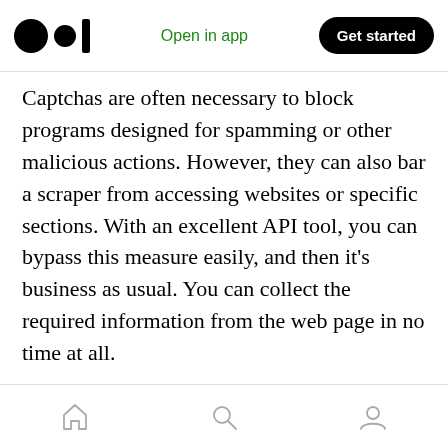Medium logo | Open in app | Get started
Captchas are often necessary to block programs designed for spamming or other malicious actions. However, they can also bar a scraper from accessing websites or specific sections. With an excellent API tool, you can bypass this measure easily, and then it’s business as usual. You can collect the required information from the web page in no time at all.
Javascript and AJAX are essential for the user experience on websites. But, some essential page elements are not accessible with a rudimentary scraper because it needs a browser environment
Home | Search | Profile